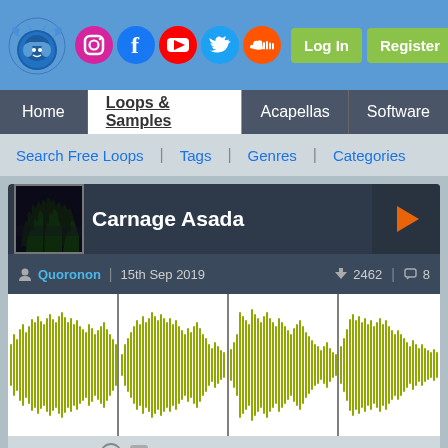[Figure (screenshot): Website header with logo, social media icons (Instagram, Facebook, YouTube, Twitter, SoundCloud), Login and Register buttons on blue background]
Home | Loops & Samples | Acapellas | Software
Search Free Loops | Tags | Genres | Categories
Carnage Asada
Quoronon  |  15th Sep 2019  ▼ 2462  💬 8
[Figure (continuous-plot): Audio waveform visualization showing 4 sections of an 8-second audio loop, olive/yellow-green color on white background with vertical dividing lines]
0:00 / 00:08   © 🗨   Login To Download